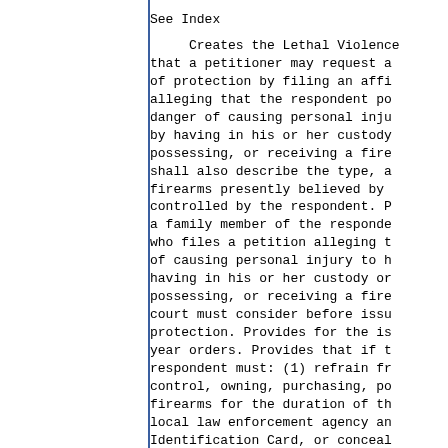See Index
Creates the Lethal Violence that a petitioner may request a of protection by filing an affi alleging that the respondent po danger of causing personal inju by having in his or her custody possessing, or receiving a fire shall also describe the type, a firearms presently believed by controlled by the respondent. P a family member of the responde who files a petition alleging t of causing personal injury to h having in his or her custody or possessing, or receiving a fire court must consider before issu protection. Provides for the is year orders. Provides that if t respondent must: (1) refrain fr control, owning, purchasing, po firearms for the duration of th local law enforcement agency an Identification Card, or conceal possession. Establishes factors lethal violence orders of prote Identification Card Act and the make conforming changes. Define